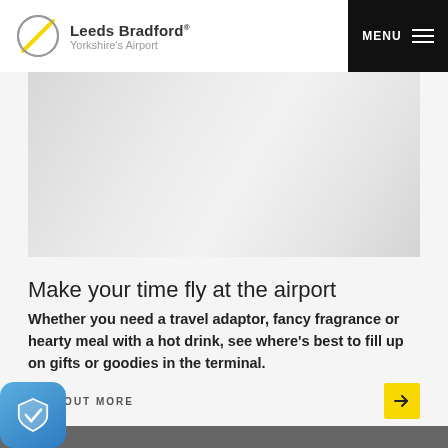Leeds Bradford® Yorkshire's Airport
[Figure (photo): Faded/washed-out photo of people at an airport, two figures visible, light grey tones]
Make your time fly at the airport
Whether you need a travel adaptor, fancy fragrance or hearty meal with a hot drink, see where's best to fill up on gifts or goodies in the terminal.
FIND OUT MORE
[Figure (logo): Blue rounded square security/shield badge with white checkmark]